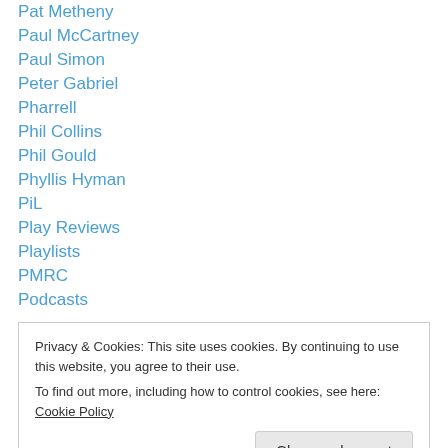Pat Metheny
Paul McCartney
Paul Simon
Peter Gabriel
Pharrell
Phil Collins
Phil Gould
Phyllis Hyman
PiL
Play Reviews
Playlists
PMRC
Podcasts
Privacy & Cookies: This site uses cookies. By continuing to use this website, you agree to their use. To find out more, including how to control cookies, see here: Cookie Policy
Propaganda